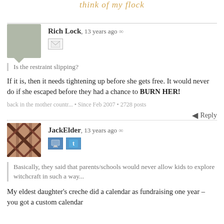Rich Lock, 13 years ago
Is the restraint slipping?
If it is, then it needs tightening up before she gets free. It would never do if she escaped before they had a chance to BURN HER!
back in the mother countr... • Since Feb 2007 • 2728 posts
Reply
JackElder, 13 years ago
Basically, they said that parents/schools would never allow kids to explore witchcraft in such a way...
My eldest daughter's creche did a calendar as fundraising one year – you got a custom calendar